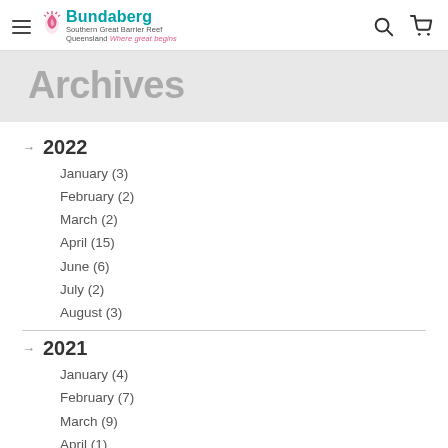Bundaberg Southern Great Barrier Reef Queensland Where great begins
Archives
2022
January (3)
February (2)
March (2)
April (15)
June (6)
July (2)
August (3)
2021
January (4)
February (7)
March (9)
April (1)
May (2)
June (2)
July (8)